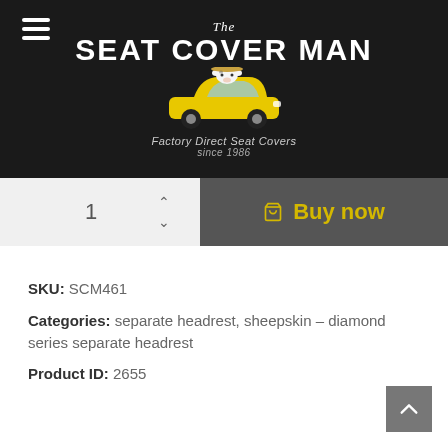[Figure (logo): The Seat Cover Man logo: white text on black background with illustrated cow driving a yellow car. Text reads 'The SEAT COVER MAN Factory Direct Seat Covers since 1986']
[Figure (screenshot): Buy now UI bar: quantity selector showing '1' with up/down arrows on grey background, and dark grey 'Buy now' button with yellow shopping cart icon and yellow text]
SKU: SCM461
Categories: separate headrest, sheepskin - diamond series separate headrest
Product ID: 2655